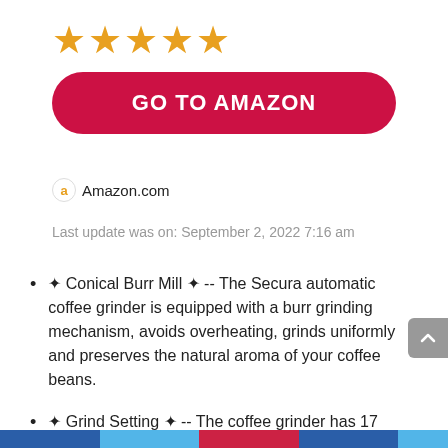[Figure (other): Five gold star rating icons]
[Figure (other): Red rounded button with text GO TO AMAZON]
Amazon.com
Last update was on: September 2, 2022 7:16 am
✦ Conical Burr Mill ✦ -- The Secura automatic coffee grinder is equipped with a burr grinding mechanism, avoids overheating, grinds uniformly and preserves the natural aroma of your coffee beans.
✦ Grind Setting ✦ -- The coffee grinder has 17